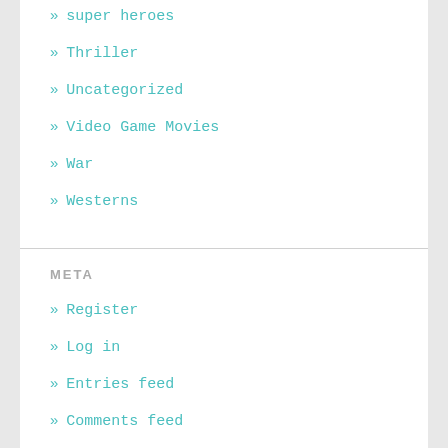» super heroes
» Thriller
» Uncategorized
» Video Game Movies
» War
» Westerns
META
» Register
» Log in
» Entries feed
» Comments feed
» WordPress.com